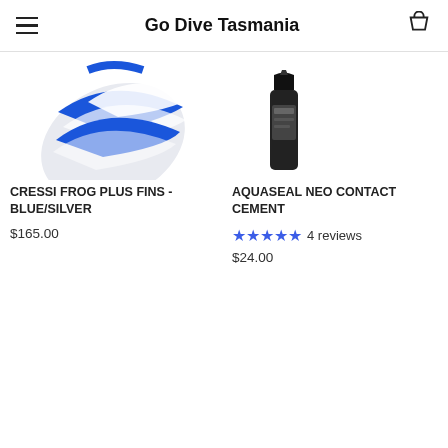Go Dive Tasmania
[Figure (photo): Cressi Frog Plus Fins in blue and white/silver color, partially cropped]
CRESSI FROG PLUS FINS - BLUE/SILVER
$165.00
[Figure (photo): Aquaseal Neo Contact Cement product, small dark container, partially cropped]
AQUASEAL NEO CONTACT CEMENT
4 reviews
$24.00